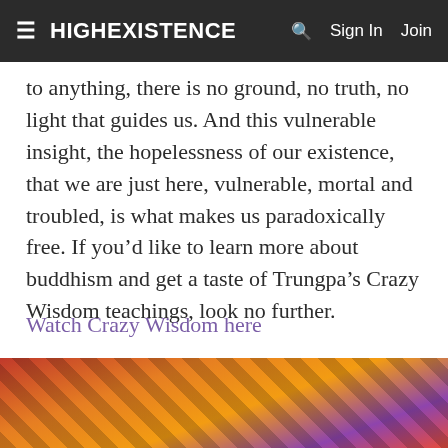≡ HIGHEXISTENCE  🔍  Sign In  Join
to anything, there is no ground, no truth, no light that guides us. And this vulnerable insight, the hopelessness of our existence, that we are just here, vulnerable, mortal and troubled, is what makes us paradoxically free. If you'd like to learn more about buddhism and get a taste of Trungpa's Crazy Wisdom teachings, look no further.
Watch Crazy Wisdom here
Jodorowsky's Dune
[Figure (photo): Partial view of a colorful illustrated or painted image with red, yellow, and dark geometric patterns, likely a film or book cover image related to Jodorowsky's Dune.]